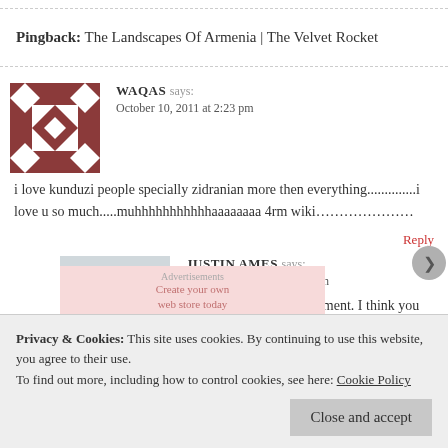Pingback: The Landscapes Of Armenia | The Velvet Rocket
WAQAS says:
October 10, 2011 at 2:23 pm
i love kunduzi people specially zidranian more then everything..............i love u so much.....muhhhhhhhhhhhaaaaaaaa 4rm wiki…………………
Reply
JUSTIN AMES says:
October 10, 2011 at 11:42 pm
Thank you for your comment. I think you just
Privacy & Cookies: This site uses cookies. By continuing to use this website, you agree to their use.
To find out more, including how to control cookies, see here: Cookie Policy
Close and accept